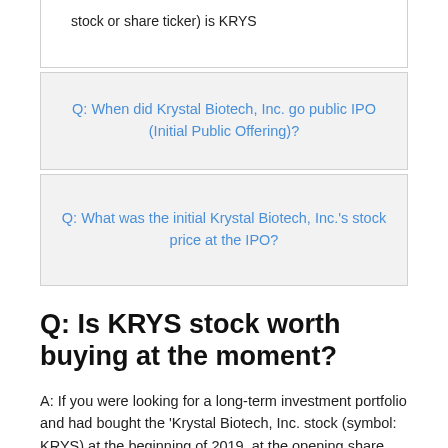stock or share ticker) is KRYS
Q: When did Krystal Biotech, Inc. go public IPO (Initial Public Offering)?
Q: What was the initial Krystal Biotech, Inc.'s stock price at the IPO?
Q: Is KRYS stock worth buying at the moment?
A: If you were looking for a long-term investment portfolio and had bought the 'Krystal Biotech, Inc. stock (symbol: KRYS) at the beginning of 2019, at the opening share price of $22.1298, with a minimum of